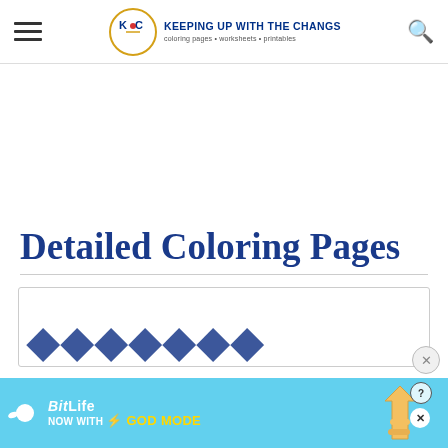KEEPING UP WITH THE CHANGS — coloring pages • worksheets • printables
Detailed Coloring Pages
[Figure (screenshot): Partial preview of a coloring page content area showing large decorative text]
[Figure (screenshot): BitLife advertisement banner: 'NOW WITH GOD MODE' with lightning bolt and hand graphic on cyan background]